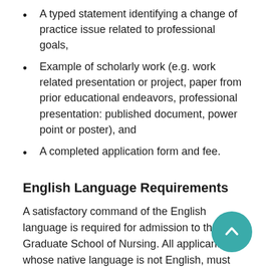A typed statement identifying a change of practice issue related to professional goals,
Example of scholarly work (e.g. work related presentation or project, paper from prior educational endeavors, professional presentation: published document, power point or poster), and
A completed application form and fee.
English Language Requirements
A satisfactory command of the English language is required for admission to the Graduate School of Nursing. All applicants whose native language is not English, must meet this requirement-including international applicants, permanent residents, immigrants, and transfer students who are not citizens of the United States on the date of admission. A Test of English as a Foreign Language